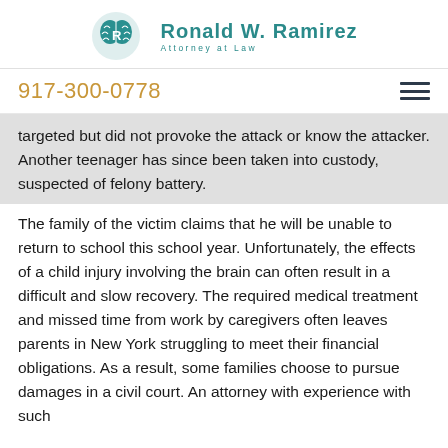[Figure (logo): Ronald W. Ramirez Attorney at Law logo with teal brain/gavel icon]
917-300-0778
targeted but did not provoke the attack or know the attacker. Another teenager has since been taken into custody, suspected of felony battery.
The family of the victim claims that he will be unable to return to school this school year. Unfortunately, the effects of a child injury involving the brain can often result in a difficult and slow recovery. The required medical treatment and missed time from work by caregivers often leaves parents in New York struggling to meet their financial obligations. As a result, some families choose to pursue damages in a civil court. An attorney with experience with such